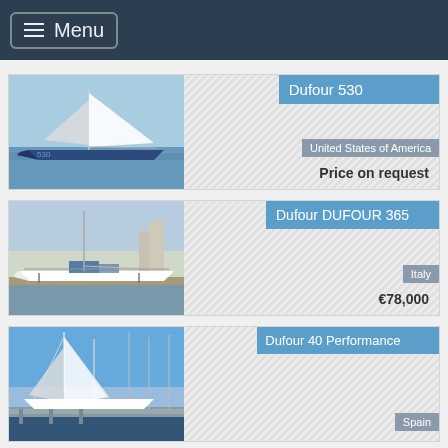Menu
Dufour 530 | United States of America | Price on request
Dufour DUFOUR 365 | Italy | €78,000
Dufour 40 Performance | Spain